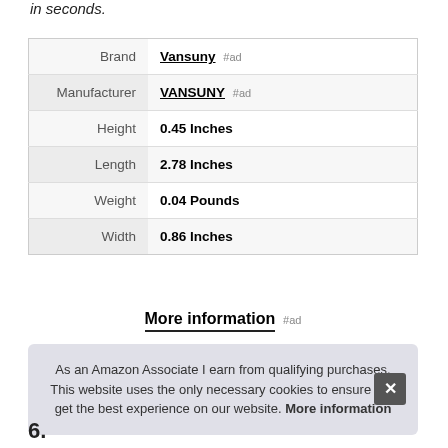in seconds.
|  |  |
| --- | --- |
| Brand | Vansuny #ad |
| Manufacturer | VANSUNY #ad |
| Height | 0.45 Inches |
| Length | 2.78 Inches |
| Weight | 0.04 Pounds |
| Width | 0.86 Inches |
More information #ad
As an Amazon Associate I earn from qualifying purchases. This website uses the only necessary cookies to ensure you get the best experience on our website. More information
6.